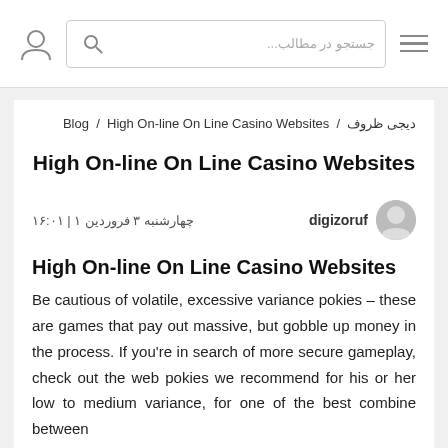دیجی ظروف / Blog / High On-line On Line Casino Websites
High On-line On Line Casino Websites
digizoruf  چهارشنبه ۳ فروردین ۱ | ۱۶:۰۱
High On-line On Line Casino Websites
Be cautious of volatile, excessive variance pokies – these are games that pay out massive, but gobble up money in the process. If you're in search of more secure gameplay, check out the web pokies we recommend for his or her low to medium variance, for one of the best combine between